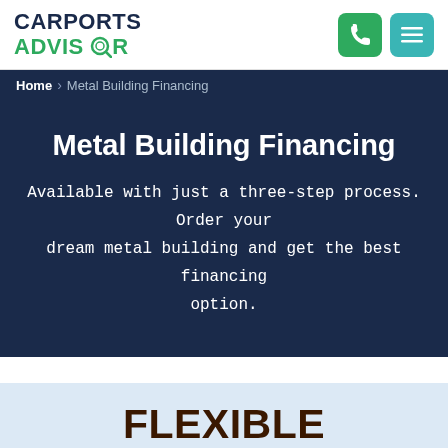CARPORTS ADVISOR
Home  ›  Metal Building Financing
Metal Building Financing
Available with just a three-step process. Order your dream metal building and get the best financing option.
FLEXIBLE PAYMENT OPTIONS
AVAILABLE UP TO 50K BUILDING PRICE